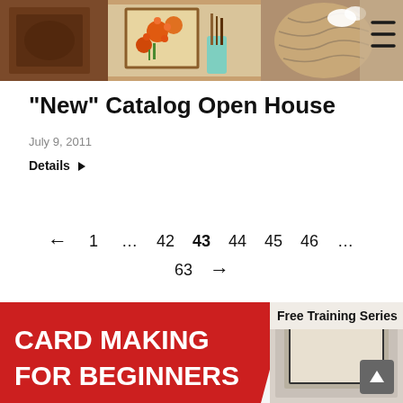[Figure (photo): Hero image at top showing craft/stamping display with framed artwork including orange flowers and decorated pieces on a shelf.]
“New” Catalog Open House
July 9, 2011
Details ▶
← 1 … 42 43 44 45 46 … 63 →
[Figure (illustration): Red banner advertisement for ‘Card Making for Beginners’ Free Training Series with white bold text on red background and a photo of craft supplies.]